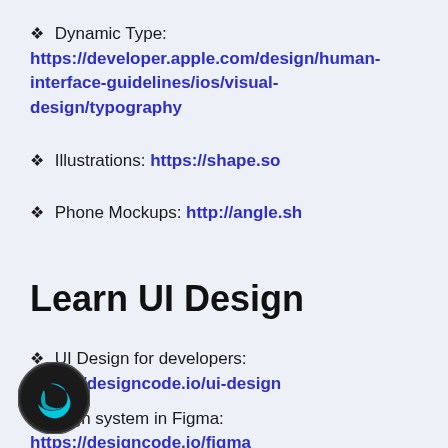🔗 Dynamic Type: https://developer.apple.com/design/human-interface-guidelines/ios/visual-design/typography
🔗 Illustrations: https://shape.so
🔗 Phone Mockups: http://angle.sh
Learn UI Design
🔗 UI Design for developers: https://designcode.io/ui-design
🔗 Design system in Figma: https://designcode.io/figma
[Figure (logo): Swift logo — dark circular badge with cyan Swift bird icon]